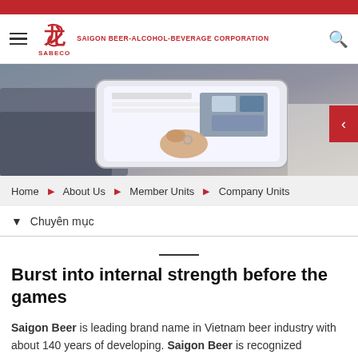[Figure (screenshot): Red top navigation bar of SABECO website]
SAIGON BEER-ALCOHOL-BEVERAGE CORPORATION | SABECO
[Figure (photo): Person using a tablet computer, browsing news/content on screen]
Home ❯ About Us ❯ Member Units ❯ Company Units
▼ Chuyên mục
Burst into internal strength before the games
Saigon Beer is leading brand name in Vietnam beer industry with about 140 years of developing. Saigon Beer is recognized